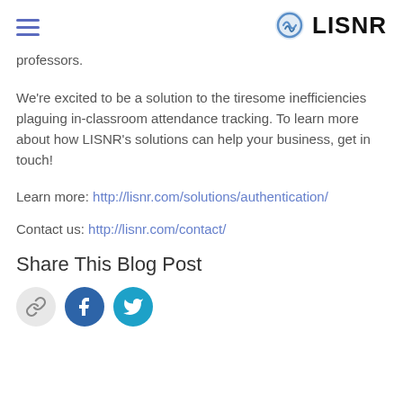LISNR
professors.
We're excited to be a solution to the tiresome inefficiencies plaguing in-classroom attendance tracking. To learn more about how LISNR's solutions can help your business, get in touch!
Learn more: http://lisnr.com/solutions/authentication/
Contact us: http://lisnr.com/contact/
Share This Blog Post
[Figure (illustration): Three social sharing icons: a chain link icon on grey background, Facebook icon on dark blue background, and Twitter bird icon on cyan background]